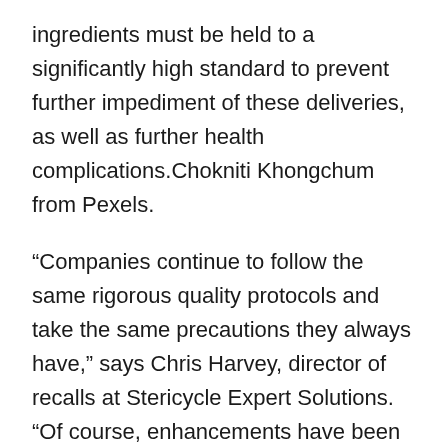ingredients must be held to a significantly high standard to prevent further impediment of these deliveries, as well as further health complications.Chokniti Khongchum from Pexels.
“Companies continue to follow the same rigorous quality protocols and take the same precautions they always have,” says Chris Harvey, director of recalls at Stericycle Expert Solutions. “Of course, enhancements have been made that are necessary based on the best practices and recommendations outlined by Centers for Disease Control and Prevention and other medical experts. For most companies, that will be enough. But, the